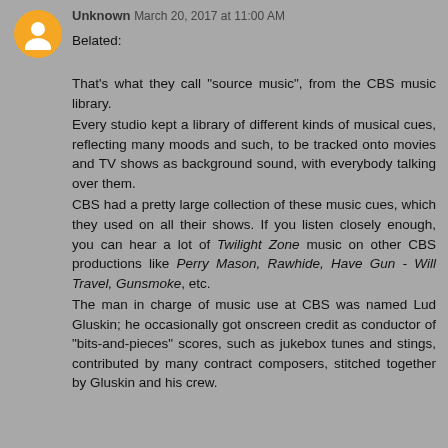Unknown March 20, 2017 at 11:00 AM
Belated:

That's what they call "source music", from the CBS music library.
Every studio kept a library of different kinds of musical cues, reflecting many moods and such, to be tracked onto movies and TV shows as background sound, with everybody talking over them.
CBS had a pretty large collection of these music cues, which they used on all their shows. If you listen closely enough, you can hear a lot of Twilight Zone music on other CBS productions like Perry Mason, Rawhide, Have Gun - Will Travel, Gunsmoke, etc.
The man in charge of music use at CBS was named Lud Gluskin; he occasionally got onscreen credit as conductor of "bits-and-pieces" scores, such as jukebox tunes and stings, contributed by many contract composers, stitched together by Gluskin and his crew.